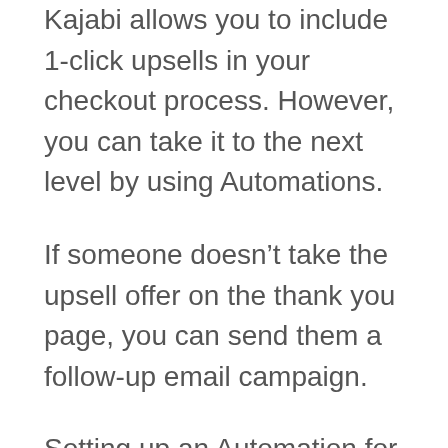Kajabi allows you to include 1-click upsells in your checkout process. However, you can take it to the next level by using Automations.
If someone doesn't take the upsell offer on the thank you page, you can send them a follow-up email campaign.
Setting up an Automation for the same is simple. Your trigger will be purchasing the main offer, and your action will be subscribing to the upsell email sequence.
The key here is to ensure that you don't send emails to the members who have already